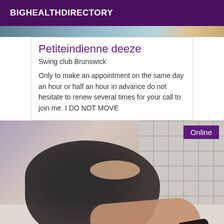BIGHEALTHDIRECTORY
Petiteindienne deeze
Swing club Brunswick
Only to make an appointment on the same day an hour or half an hour in advance do not hesitate to renew several times for your call to join me. I DO NOT MOVE
[Figure (photo): Photo of a woman in a black lace and sequin dress posing against a tiled wall, with high heels. An 'Online' badge appears in the top-right corner.]